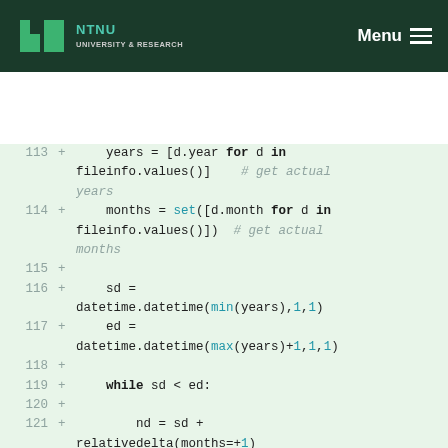NTNU UNIVERSITY & RESEARCH  Menu
[Figure (screenshot): Python code diff showing lines 113-123 with added lines for iterating over file date info, computing start/end dates, and building avg_files list.]